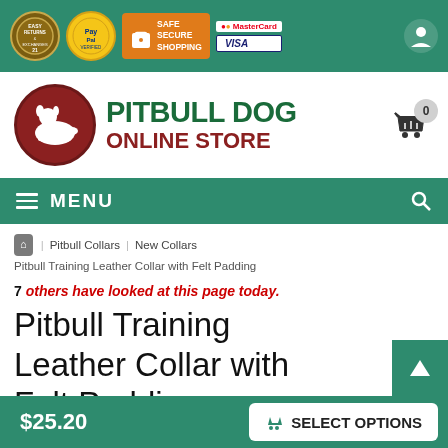Trust bar: Easy Returns & Exchanges, PayPal Verified, Safe Secure Shopping, MasterCard, Visa
[Figure (logo): Pitbull Dog Online Store logo — red circle with white dog silhouette, green PITBULL DOG text, red ONLINE STORE text]
MENU (navigation bar with hamburger icon and search icon)
Home / Pitbull Collars / New Collars / Pitbull Training Leather Collar with Felt Padding
7 others have looked at this page today.
Pitbull Training Leather Collar with Felt Padding
$25.20    SELECT OPTIONS